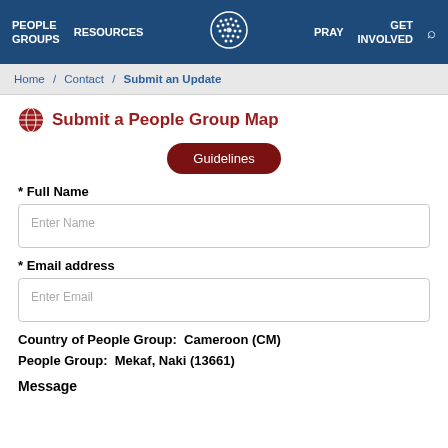PEOPLE GROUPS   RESOURCES   [logo]   PRAY   GET INVOLVED   [search]
Home / Contact / Submit an Update
Submit a People Group Map
Guidelines
* Full Name
Enter Name
* Email address
Enter Email
Country of People Group:  Cameroon (CM)
People Group:  Mekaf, Naki (13661)
Message